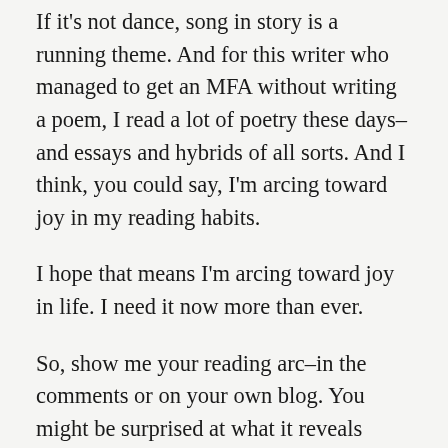If it's not dance, song in story is a running theme. And for this writer who managed to get an MFA without writing a poem, I read a lot of poetry these days–and essays and hybrids of all sorts. And I think, you could say, I'm arcing toward joy in my reading habits.
I hope that means I'm arcing toward joy in life. I need it now more than ever.
So, show me your reading arc–in the comments or on your own blog. You might be surprised at what it reveals about your reading and your life.
Let's read together. Check out my categories above, with